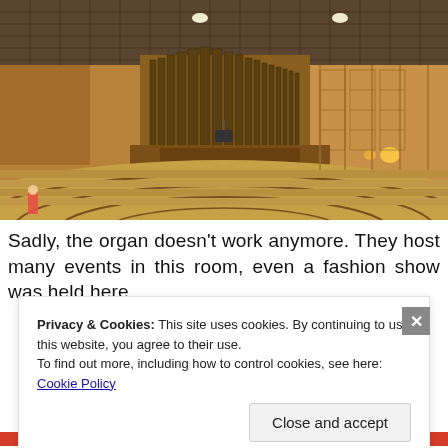[Figure (photo): Interior of a concert hall showing a large pipe organ at the back wall, wooden paneling, acoustic ceiling tiles, and a circular wooden performance floor with stepped seating area. Warm amber/golden lighting throughout.]
Sadly, the organ doesn't work anymore. They host many events in this room, even a fashion show was held here
Privacy & Cookies: This site uses cookies. By continuing to use this website, you agree to their use.
To find out more, including how to control cookies, see here: Cookie Policy
Close and accept